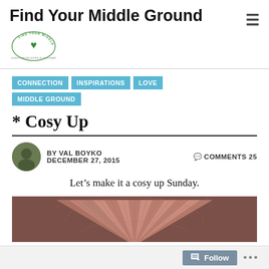Find Your Middle Ground
CONNECTION
INSPIRATIONS
LOVE
MIDDLE GROUND
* Cosy Up
BY VAL BOYKO   DECEMBER 27, 2015   COMMENTS 25
Let’s make it a cosy up Sunday.
[Figure (photo): Partial view of a fan or circular decorative object with pink/salmon tones against a brownish background]
Follow ...